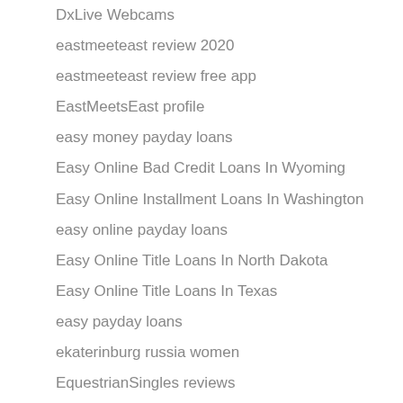DxLive Webcams
eastmeeteast review 2020
eastmeeteast review free app
EastMeetsEast profile
easy money payday loans
Easy Online Bad Credit Loans In Wyoming
Easy Online Installment Loans In Washington
easy online payday loans
Easy Online Title Loans In North Dakota
Easy Online Title Loans In Texas
easy payday loans
ekaterinburg russia women
EquestrianSingles reviews
escort sex
Essay Writing Service
express payday loan
f dating review